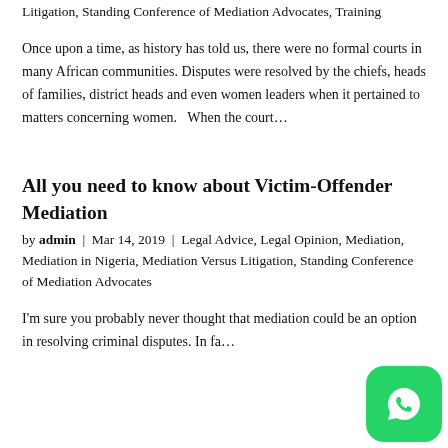Litigation, Standing Conference of Mediation Advocates, Training
Once upon a time, as history has told us, there were no formal courts in many African communities. Disputes were resolved by the chiefs, heads of families, district heads and even women leaders when it pertained to matters concerning women.   When the court…
All you need to know about Victim-Offender Mediation
by admin | Mar 14, 2019 | Legal Advice, Legal Opinion, Mediation, Mediation in Nigeria, Mediation Versus Litigation, Standing Conference of Mediation Advocates
I'm sure you probably never thought that mediation could be an option in resolving criminal disputes. In fa…